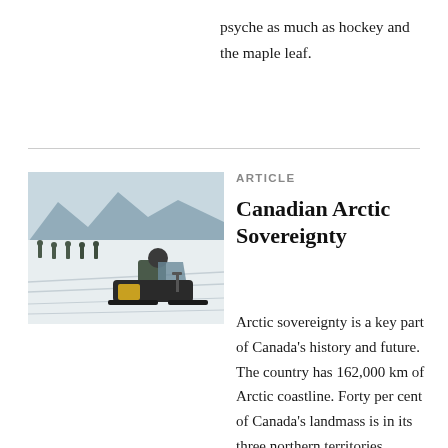psyche as much as hockey and the maple leaf.
[Figure (photo): A soldier in military uniform riding a snowmobile on a snowy landscape, with other military personnel walking in the background.]
ARTICLE
Canadian Arctic Sovereignty
Arctic sovereignty is a key part of Canada's history and future. The country has 162,000 km of Arctic coastline. Forty per cent of Canada's landmass is in its three northern territories. Sovereignty over the area has become a national priority for